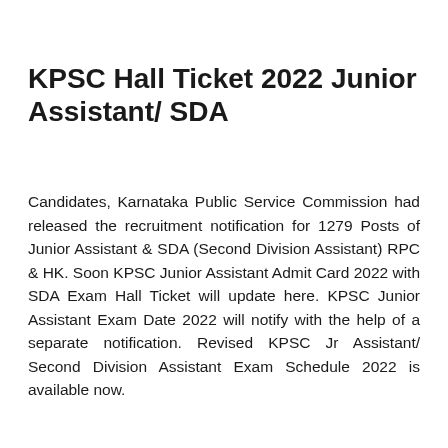KPSC Hall Ticket 2022 Junior Assistant/ SDA
Candidates, Karnataka Public Service Commission had released the recruitment notification for 1279 Posts of Junior Assistant & SDA (Second Division Assistant) RPC & HK. Soon KPSC Junior Assistant Admit Card 2022 with SDA Exam Hall Ticket will update here. KPSC Junior Assistant Exam Date 2022 will notify with the help of a separate notification. Revised KPSC Jr Assistant/ Second Division Assistant Exam Schedule 2022 is available now.